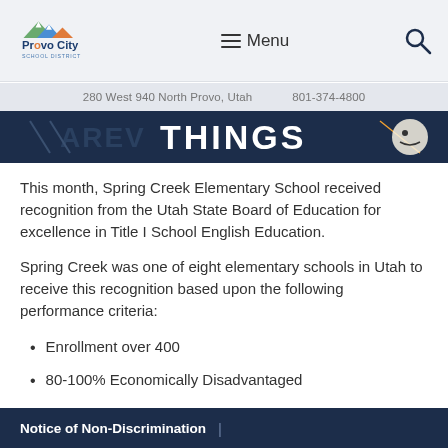Provo City School District | Menu | Search
280 West 940 North Provo, Utah    801-374-4800
[Figure (photo): Dark navy background with text 'AREV' and 'THINGS' visible, partial photo banner]
This month, Spring Creek Elementary School received recognition from the Utah State Board of Education for excellence in Title I School English Education.
Spring Creek was one of eight elementary schools in Utah to receive this recognition based upon the following performance criteria:
Enrollment over 400
80-100% Economically Disadvantaged
Notice of Non-Discrimination  |